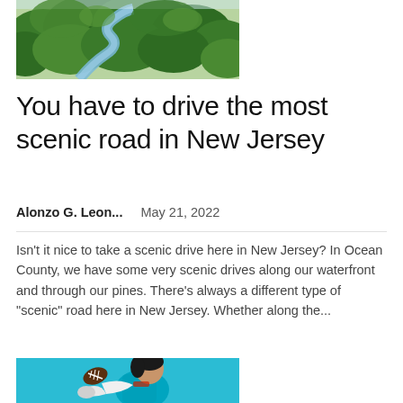[Figure (photo): Aerial view of a winding river through dense green forest trees]
You have to drive the most scenic road in New Jersey
Alonzo G. Leon...    May 21, 2022
Isn't it nice to take a scenic drive here in New Jersey? In Ocean County, we have some very scenic drives along our waterfront and through our pines. There's always a different type of "scenic" road here in New Jersey. Whether along the...
[Figure (photo): Football player in teal Carolina Panthers uniform reaching for a ball with white gloved hands against a light blue background]